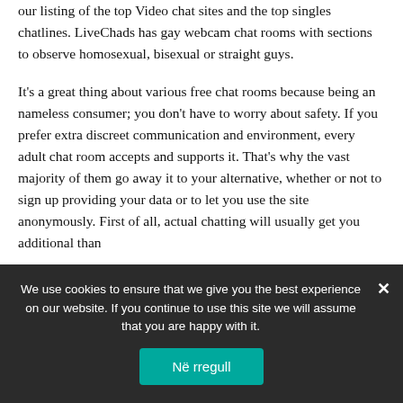our listing of the top Video chat sites and the top singles chatlines. LiveChads has gay webcam chat rooms with sections to observe homosexual, bisexual or straight guys.
It's a great thing about various free chat rooms because being an nameless consumer; you don't have to worry about safety. If you prefer extra discreet communication and environment, every adult chat room accepts and supports it. That's why the vast majority of them go away it to your alternative, whether or not to sign up providing your data or to let you use the site anonymously. First of all, actual chatting will usually get you additional than
We use cookies to ensure that we give you the best experience on our website. If you continue to use this site we will assume that you are happy with it.
Në rregull